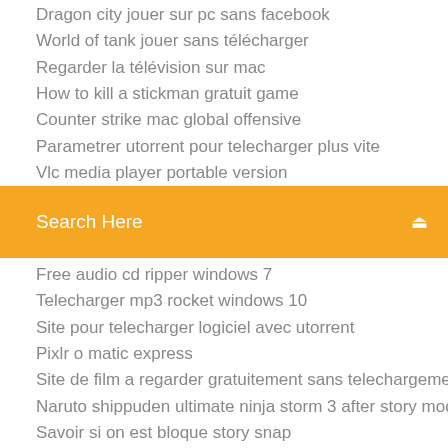Dragon city jouer sur pc sans facebook
World of tank jouer sans télécharger
Regarder la télévision sur mac
How to kill a stickman gratuit game
Counter strike mac global offensive
Parametrer utorrent pour telecharger plus vite
Vlc media player portable version
[Figure (screenshot): Orange search bar with 'Search Here' placeholder text and a search icon on the right]
Free audio cd ripper windows 7
Telecharger mp3 rocket windows 10
Site pour telecharger logiciel avec utorrent
Pixlr o matic express
Site de film a regarder gratuitement sans telechargement
Naruto shippuden ultimate ninja storm 3 after story mode
Savoir si on est bloque story snap
Emulator king games gratuit télécharger for pc
Logiciel de gestion de compte bancaire gratuit pour mac
Adobe after effect macbook